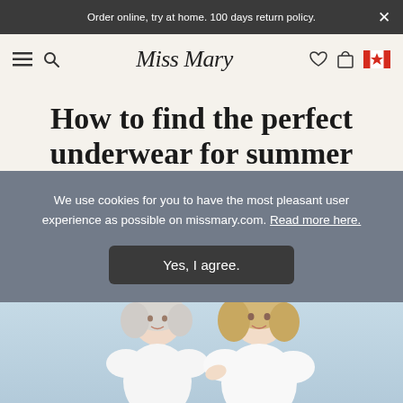Order online, try at home. 100 days return policy.
[Figure (screenshot): Miss Mary website navigation bar with hamburger menu, search icon, Miss Mary logo in italic script, heart icon, bag icon, and Canadian flag icon]
How to find the perfect underwear for summer
We use cookies for you to have the most pleasant user experience as possible on missmary.com. Read more here.
Yes, I agree.
[Figure (photo): Two smiling women, one with white/silver hair and one with blonde hair, wearing white tops, photographed against a light blue background]